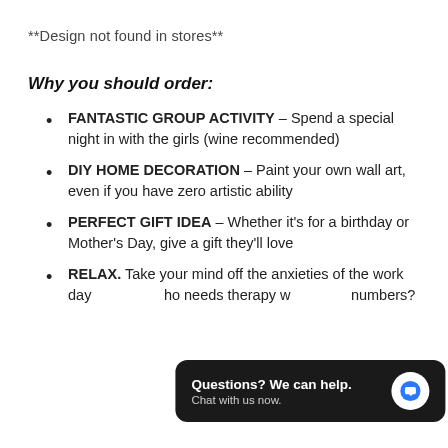**Design not found in stores**
Why you should order:
FANTASTIC GROUP ACTIVITY – Spend a special night in with the girls (wine recommended)
DIY HOME DECORATION – Paint your own wall art, even if you have zero artistic ability
PERFECT GIFT IDEA – Whether it's for a birthday or Mother's Day, give a gift they'll love
RELAX. Take your mind off the anxieties of the work day... who needs therapy w... numbers?
[Figure (screenshot): Chat widget overlay: 'Questions? We can help. Chat with us now.' with a blue speech bubble icon on dark background.]